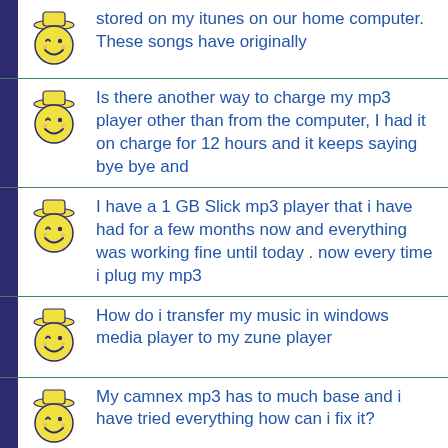stored on my itunes on our home computer. These songs have originally
Is there another way to charge my mp3 player other than from the computer, I had it on charge for 12 hours and it keeps saying bye bye and
I have a 1 GB Slick mp3 player that i have had for a few months now and everything was working fine until today . now every time i plug my mp3
How do i transfer my music in windows media player to my zune player
My camnex mp3 has to much base and i have tried everything how can i fix it?